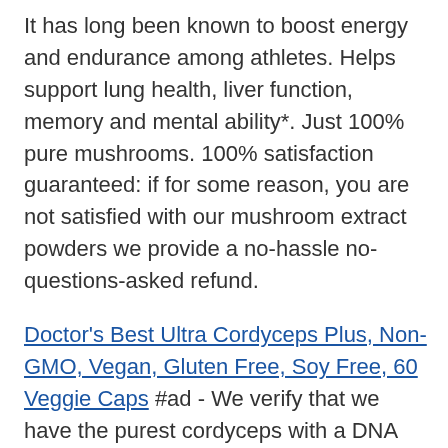It has long been known to boost energy and endurance among athletes. Helps support lung health, liver function, memory and mental ability*. Just 100% pure mushrooms. 100% satisfaction guaranteed: if for some reason, you are not satisfied with our mushroom extract powders we provide a no-hassle no-questions-asked refund.
Doctor's Best Ultra Cordyceps Plus, Non-GMO, Vegan, Gluten Free, Soy Free, 60 Veggie Caps #ad - We verify that we have the purest cordyceps with a DNA profile, proving 100% that they are an exact match for wild cordyceps. Non-gmo/ gluten Free/ Soy Free/ Vegan. We guarantee that there is absolutely no added mycelium, Non-GMO, starch, Gluten-Free, which is